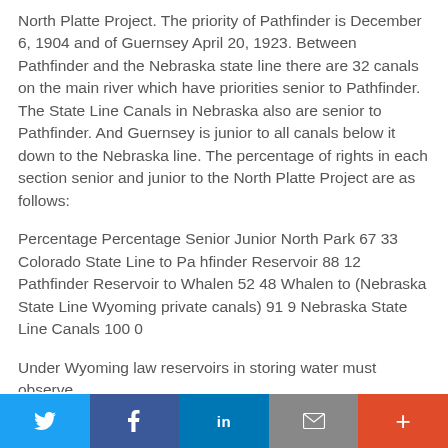North Platte Project. The priority of Pathfinder is December 6, 1904 and of Guernsey April 20, 1923. Between Pathfinder and the Nebraska state line there are 32 canals on the main river which have priorities senior to Pathfinder. The State Line Canals in Nebraska also are senior to Pathfinder. And Guernsey is junior to all canals below it down to the Nebraska line. The percentage of rights in each section senior and junior to the North Platte Project are as follows:
Percentage Percentage Senior Junior North Park 67 33 Colorado State Line to Pa hfinder Reservoir 88 12 Pathfinder Reservoir to Whalen 52 48 Whalen to (Nebraska State Line Wyoming private canals) 91 9 Nebraska State Line Canals 100 0
Under Wyoming law reservoirs in storing water must observe
Twitter Facebook LinkedIn Email +